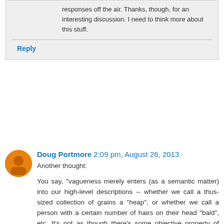responses off the air. Thanks, though, for an interesting discussion. I need to think more about this stuff.
Reply
Doug Portmore  2:09 pm, August 26, 2013
Another thought:
You say, "vagueness merely enters (as a semantic matter) into our high-level descriptions -- whether we call a thus-sized collection of grains a "heap", or whether we call a person with a certain number of hairs on their head "bald", etc. It's not as though there's some objective property of baldness out there in the world that we're trying to latch on to. (ii) The things that matter are features of the world, not of our vague descriptions. So (iii) the things that matter don't admit of vagueness."
What matters, I think, is not how many hairs one has on one's head but whether one is noticeably more balding.